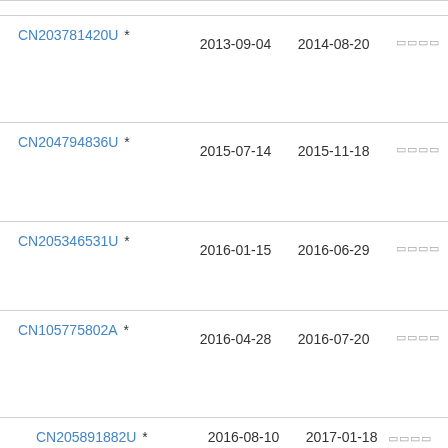| Patent | Filing Date | Publication Date |  |
| --- | --- | --- | --- |
| CN203781420U * | 2013-09-04 | 2014-08-20 | □□□□ |
| CN204794836U * | 2015-07-14 | 2015-11-18 | □□□□ |
| CN205346531U * | 2016-01-15 | 2016-06-29 | □□□□ |
| CN105775802A * | 2016-04-28 | 2016-07-20 | □□□□ |
| CN205891882U * | 2016-08-10 | 2017-01-18 | □□□□ |